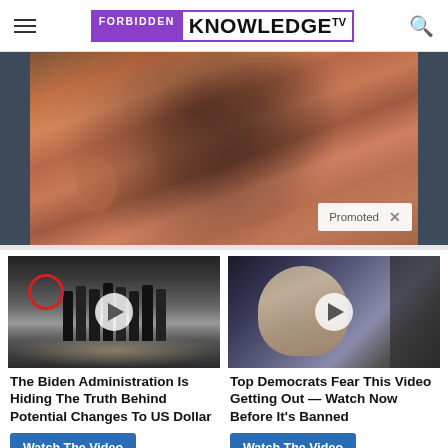FORBIDDEN KNOWLEDGE TV
[Figure (photo): Close-up photo of a person's face covered in dark spots/particles, side profile view. Dark sidebar panels on left and right. 'Promoted X' badge overlaid at bottom right.]
[Figure (photo): Group of people in suits standing in front of CIA logo floor emblem, with red circle highlighting a figure on the left and a play button overlay.]
[Figure (photo): Woman (appears to be Hillary Clinton) smiling in a crowd, with a play button overlay.]
The Biden Administration Is Hiding The Truth Behind Potential Changes To US Dollar
Watch The Video
Top Democrats Fear This Video Getting Out — Watch Now Before It's Banned
Watch The Video